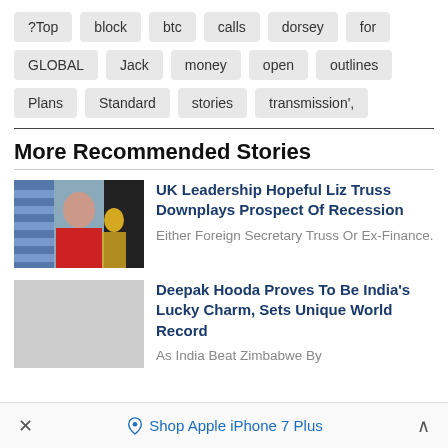?Top
block
btc
calls
dorsey
for
GLOBAL
Jack
money
open
outlines
Plans
Standard
stories
transmission',
More Recommended Stories
[Figure (photo): Photo of Liz Truss speaking at a podium, woman in red jacket with hands clasped, another person in background wearing a mask]
UK Leadership Hopeful Liz Truss Downplays Prospect Of Recession
Either Foreign Secretary Truss Or Ex-Finance.
[Figure (photo): Gray placeholder image for Deepak Hooda story]
Deepak Hooda Proves To Be India's Lucky Charm, Sets Unique World Record
As India Beat Zimbabwe By
Shop Apple iPhone 7 Plus